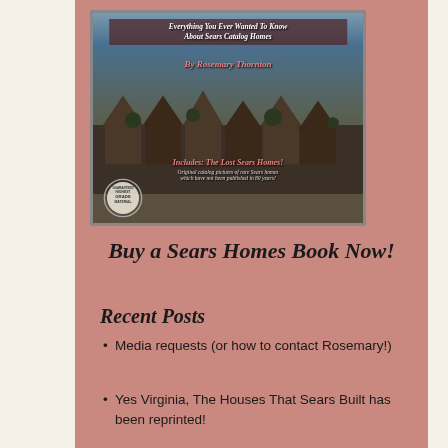[Figure (photo): Book cover of 'Everything You Ever Wanted To Know About Sears Catalog Homes' by Rosemary Thornton, showing old black-and-white aerial photo of row houses, with a Guaranteed Highest Grade Material seal badge in the lower left corner and red italic text overlay]
Buy a Sears Homes Book Now!
Recent Posts
Media requests (or how to contact Rosemary!)
Yes Virginia, The Houses That Sears Built has been reprinted!